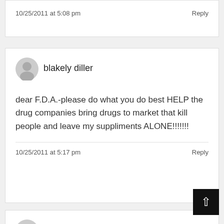10/25/2011 at 5:08 pm
Reply
blakely diller
dear F.D.A.-please do what you do best HELP the drug companies bring drugs to market that kill people and leave my suppliments ALONE!!!!!!!
10/25/2011 at 5:17 pm
Reply
Ben